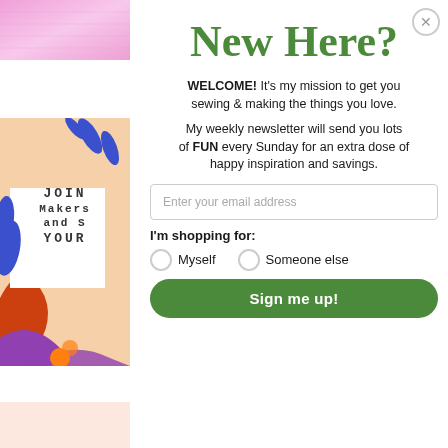[Figure (illustration): Pink gradient rectangle banner at top left]
[Figure (illustration): Colorful illustration with orange, purple, blue botanical shapes and white box with JOIN Makers and YOURSELF text]
[Figure (illustration): Light pink rectangle at bottom left]
New Here?
WELCOME! It's my mission to get you sewing & making the things you love.
My weekly newsletter will send you lots of FUN every Sunday for an extra dose of happy inspiration and savings.
Enter your email address
I'm shopping for:
Myself   Someone else
Sign me up!